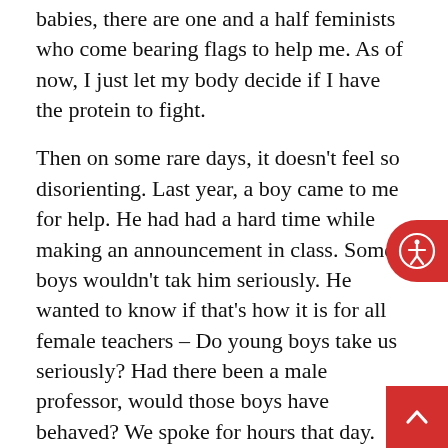babies, there are one and a half feminists who come bearing flags to help me. As of now, I just let my body decide if I have the protein to fight.
Then on some rare days, it doesn't feel so disorienting. Last year, a boy came to me for help. He had had a hard time while making an announcement in class. Some boys wouldn't take him seriously. He wanted to know if that's how it is for all female teachers – Do young boys take us seriously? Had there been a male professor, would those boys have behaved? We spoke for hours that day.
Also Read: Where Can We Cry? – Forced Silence And Subversion In Educational Institutions
A couple of days later he came back to apologise. "In class today, I cut you off in the middle of a sentence when you were making a point". "That's